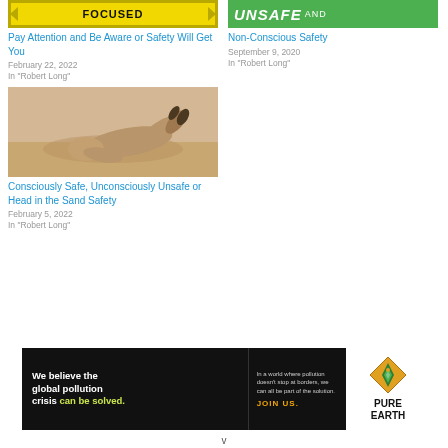[Figure (illustration): Yellow banner with arrows on each side reading FOCUSED]
Pay Attention and Be Aware or Safety Will Get You
February 22, 2022
In "Robert Long"
[Figure (illustration): Green banner reading UNSAFE AND]
Non-Conscious Safety
September 9, 2020
In "Robert Long"
[Figure (photo): Person in tan/brown clothing lying face-down with head buried in sand, outdoors in a desert-like setting]
Consciously Safe, Unconsciously Unsafe or Head in the Sand Safety
February 5, 2022
In "Robert Long"
[Figure (infographic): Pure Earth advertisement banner: black background with text 'We believe the global pollution crisis can be solved.' and 'In a world where pollution doesn't stop at borders, we can all be part of the solution. JOIN US.' with Pure Earth logo on white background.]
v